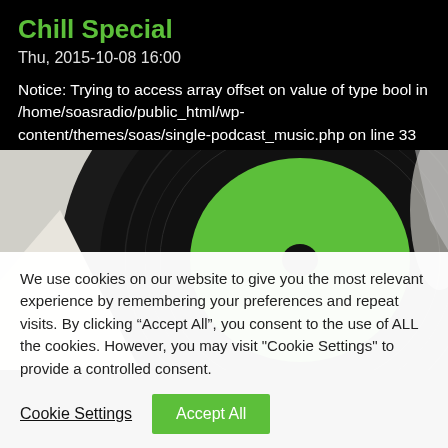Chill Special
Thu, 2015-10-08 16:00
Notice: Trying to access array offset on value of type bool in /home/soasradio/public_html/wp-content/themes/soas/single-podcast_music.php on line 33
[Figure (photo): Close-up photo of a vinyl record with a green label, black grooves visible, on a white surface.]
We use cookies on our website to give you the most relevant experience by remembering your preferences and repeat visits. By clicking “Accept All”, you consent to the use of ALL the cookies. However, you may visit "Cookie Settings" to provide a controlled consent.